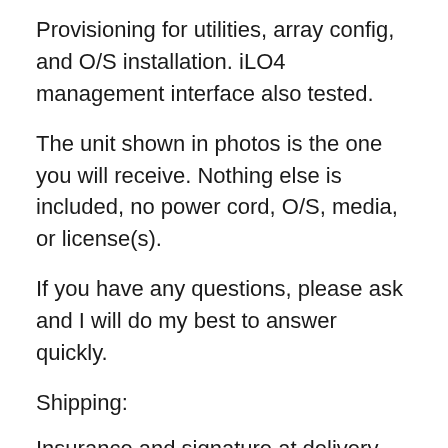Provisioning for utilities, array config, and O/S installation. iLO4 management interface also tested.
The unit shown in photos is the one you will receive. Nothing else is included, no power cord, O/S, media, or license(s).
If you have any questions, please ask and I will do my best to answer quickly.
Shipping:
Insurance and signature at delivery are required and included in shipping & handling costs.
I do not ship damaged boxes. If a box arrives damaged and the item is broken, contact me